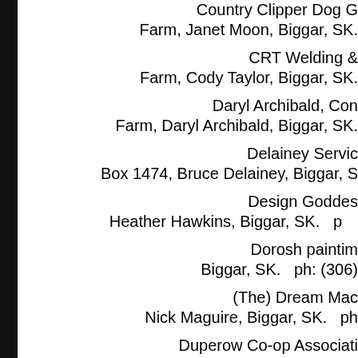Country Clipper Dog G Farm, Janet Moon, Biggar, SK.
CRT Welding & Farm, Cody Taylor, Biggar, SK.
Daryl Archibald, Con Farm, Daryl Archibald, Biggar, SK.
Delainey Servic Box 1474, Bruce Delainey, Biggar, S
Design Goddes Heather Hawkins, Biggar, SK.
Dorosh paintim Biggar, SK.  ph: (306)
(The) Dream Mac Nick Maguire, Biggar, SK.  ph:
Duperow Co-op Associati Box Site 8, Ted Craig, Biggar, SK.
Dusty Hills Towing & Au